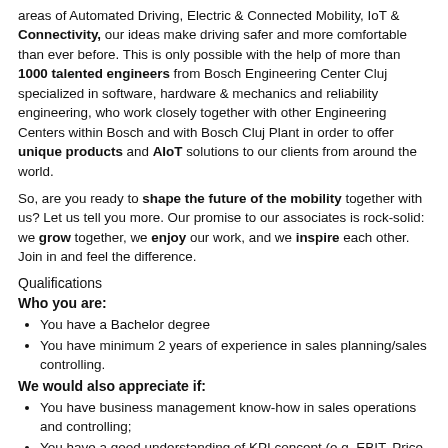areas of Automated Driving, Electric & Connected Mobility, IoT & Connectivity, our ideas make driving safer and more comfortable than ever before. This is only possible with the help of more than 1000 talented engineers from Bosch Engineering Center Cluj specialized in software, hardware & mechanics and reliability engineering, who work closely together with other Engineering Centers within Bosch and with Bosch Cluj Plant in order to offer unique products and AIoT solutions to our clients from around the world.
So, are you ready to shape the future of the mobility together with us? Let us tell you more. Our promise to our associates is rock-solid: we grow together, we enjoy our work, and we inspire each other. Join in and feel the difference.
Qualifications
Who you are:
You have a Bachelor degree
You have minimum 2 years of experience in sales planning/sales controlling.
We would also appreciate if:
You have business management know-how in sales operations and controlling;
You have a good understanding of KPI concept (e.g. EBIT, Price Change Rate, Sales to Third Party);
You have knowledge of planning, controlling and logistic processes (particularly sales planning);
You have experience in usage of Salesforce (e.g. Strategic Planning, Current Forecast);
You have experience as tool or process trainer;
You have experience with data analysis (reading behind the figures);